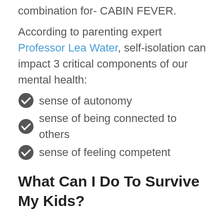combination for- CABIN FEVER.
According to parenting expert Professor Lea Water, self-isolation can impact 3 critical components of our mental health:
sense of autonomy
sense of being connected to others
sense of feeling competent
What Can I Do To Survive My Kids?